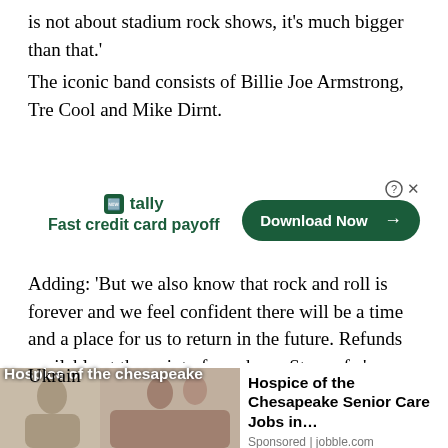is not about stadium rock shows, it’s much bigger than that.’
The iconic band consists of Billie Joe Armstrong, Tre Cool and Mike Dirnt.
[Figure (other): Tally app advertisement with logo, tagline 'Fast credit card payoff', and green 'Download Now' button]
Adding: ‘But we also know that rock and roll is forever and we feel confident there will be a time and a place for us to return in the future. Refunds available at the point of purchase. Stay safe.’
The news comes just hours after what many called the ‘tone deaf’ Screen Actors Guild Awards, with the ceremony receivi[ng extensive coverage amid the Ukraine]
[Figure (other): Sponsored ad overlay: image of two people, text 'Hospice of the Chesapeake Senior Care Jobs in...' sponsored by jobble.com]